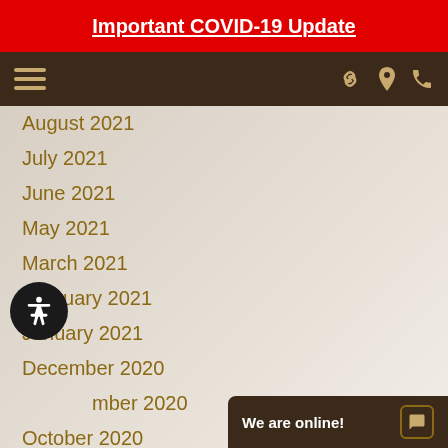Important COVID-19 Update
[Figure (screenshot): Navigation bar with hamburger menu icon on left and three icons (link, location pin, phone) on right, dark brown background]
August 2021
July 2021
June 2021
May 2021
March 2021
February 2021
January 2021
December 2020
November 2020
October 2020
September 2020
We are online!